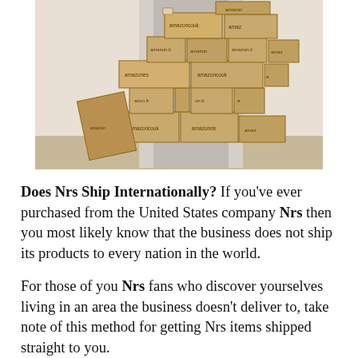[Figure (photo): A large stack of Amazon-branded cardboard boxes of various sizes piled up against a doorway. Multiple amazon.co.uk, amazon.es, amazon.it, amazon.fr, and amazon.de labelled boxes visible.]
Does Nrs Ship Internationally? If you've ever purchased from the United States company Nrs then you most likely know that the business does not ship its products to every nation in the world.
For those of you Nrs fans who discover yourselves living in an area the business doesn't deliver to, take note of this method for getting Nrs items shipped straight to you.